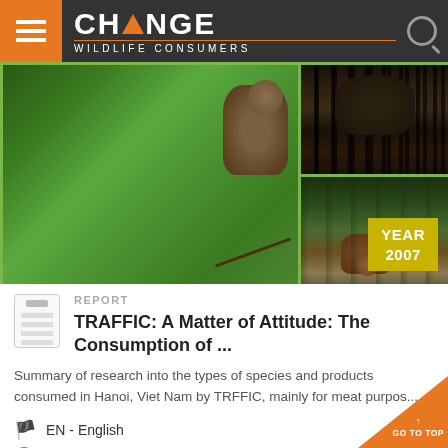CHANGE WILDLIFE CONSUMERS
[Figure (photo): Photo collage of wildlife: bear behind cage bars (top left), deer/chevrotain in forest undergrowth (bottom left), gibbon/monkey sitting on tree branch (right spanning both rows)]
YEAR 2007
REPORT
TRAFFIC: A Matter of Attitude: The Consumption of ...
Summary of research into the types of species and products consumed in Hanoi, Viet Nam by TRFFIC, mainly for meat purpos...
EN - English
Vietnam